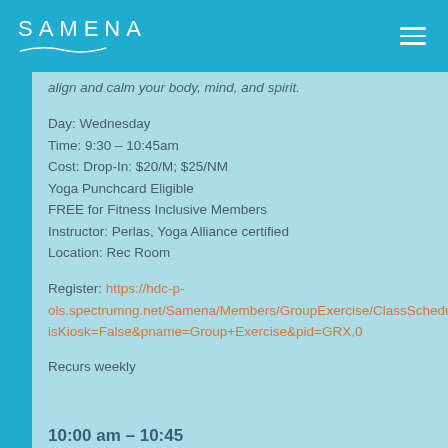SAMENA
align and calm your body, mind, and spirit.
Day: Wednesday
Time: 9:30 – 10:45am
Cost: Drop-In: $20/M; $25/NM
Yoga Punchcard Eligible
FREE for Fitness Inclusive Members
Instructor: Perlas, Yoga Alliance certified
Location: Rec Room
Register: https://hdc-p-ols.spectrumng.net/Samena/Members/GroupExercise/ClassSchedules.aspx?isKiosk=False&pname=Group+Exercise&pid=GRX,0
Recurs weekly
10:00 am – 10:45